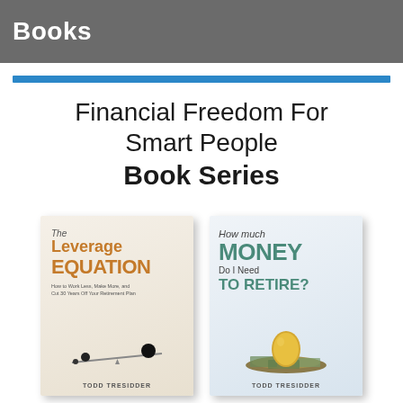Books
Financial Freedom For Smart People Book Series
[Figure (illustration): Two book covers side by side: 'The Leverage Equation' by Todd Tresidder (showing balancing balls on a lever, orange/tan cover) and 'How much MONEY Do I Need TO RETIRE?' by Todd Tresidder (showing a golden egg on money, blue/green cover)]